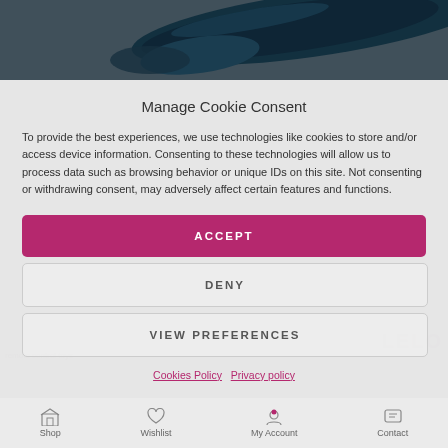[Figure (photo): Dark teal/navy curved product (sex toy) photographed against a dark grey background, visible in the top portion of the page]
Manage Cookie Consent
To provide the best experiences, we use technologies like cookies to store and/or access device information. Consenting to these technologies will allow us to process data such as browsing behavior or unique IDs on this site. Not consenting or withdrawing consent, may adversely affect certain features and functions.
ACCEPT
DENY
VIEW PREFERENCES
Cookies Policy   Privacy policy